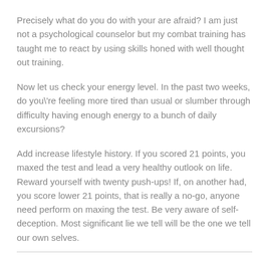Precisely what do you do with your are afraid? I am just not a psychological counselor but my combat training has taught me to react by using skills honed with well thought out training.
Now let us check your energy level. In the past two weeks, do you\'re feeling more tired than usual or slumber through difficulty having enough energy to a bunch of daily excursions?
Add increase lifestyle history. If you scored 21 points, you maxed the test and lead a very healthy outlook on life. Reward yourself with twenty push-ups! If, on another had, you score lower 21 points, that is really a no-go, anyone need perform on maxing the test. Be very aware of self-deception. Most significant lie we tell will be the one we tell our own selves.